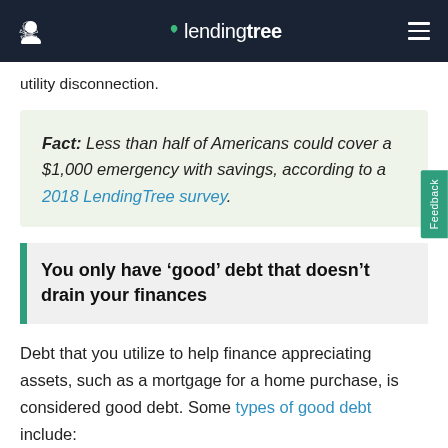lendingtree
utility disconnection.
Fact: Less than half of Americans could cover a $1,000 emergency with savings, according to a 2018 LendingTree survey.
You only have ‘good’ debt that doesn’t drain your finances
Debt that you utilize to help finance appreciating assets, such as a mortgage for a home purchase, is considered good debt. Some types of good debt include: